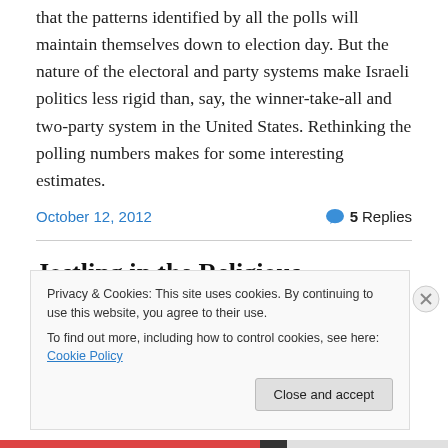that the patterns identified by all the polls will maintain themselves down to election day. But the nature of the electoral and party systems make Israeli politics less rigid than, say, the winner-take-all and two-party system in the United States. Rethinking the polling numbers makes for some interesting estimates.
October 12, 2012
5 Replies
Jostling in the Religious
Privacy & Cookies: This site uses cookies. By continuing to use this website, you agree to their use.
To find out more, including how to control cookies, see here: Cookie Policy